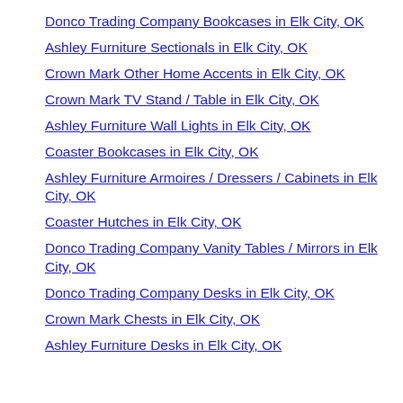Donco Trading Company Bookcases in Elk City, OK
Ashley Furniture Sectionals in Elk City, OK
Crown Mark Other Home Accents in Elk City, OK
Crown Mark TV Stand / Table in Elk City, OK
Ashley Furniture Wall Lights in Elk City, OK
Coaster Bookcases in Elk City, OK
Ashley Furniture Armoires / Dressers / Cabinets in Elk City, OK
Coaster Hutches in Elk City, OK
Donco Trading Company Vanity Tables / Mirrors in Elk City, OK
Donco Trading Company Desks in Elk City, OK
Crown Mark Chests in Elk City, OK
Ashley Furniture Desks in Elk City, OK